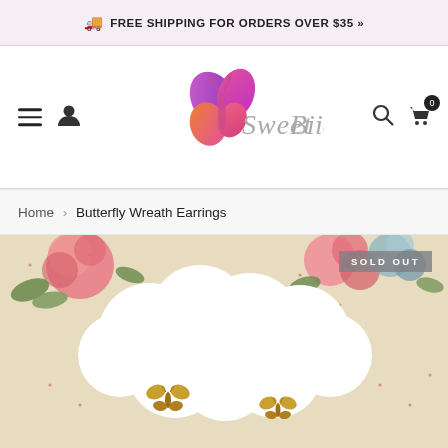🚚 FREE SHIPPING FOR ORDERS OVER $35 »
[Figure (logo): SweetBiie logo with colorful butterfly (pink, purple, orange petals) and cursive brand name text]
Home > Butterfly Wreath Earrings
[Figure (photo): Product photo showing Butterfly Wreath Earrings on a floral vintage background with 'SOLD OUT' badge. Two gold butterfly stud earrings visible at bottom center.]